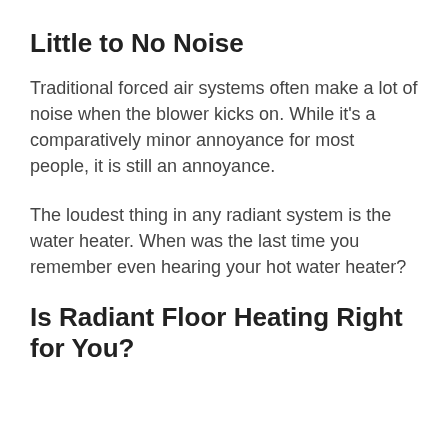Little to No Noise
Traditional forced air systems often make a lot of noise when the blower kicks on. While it's a comparatively minor annoyance for most people, it is still an annoyance.
The loudest thing in any radiant system is the water heater. When was the last time you remember even hearing your hot water heater?
Is Radiant Floor Heating Right for You?